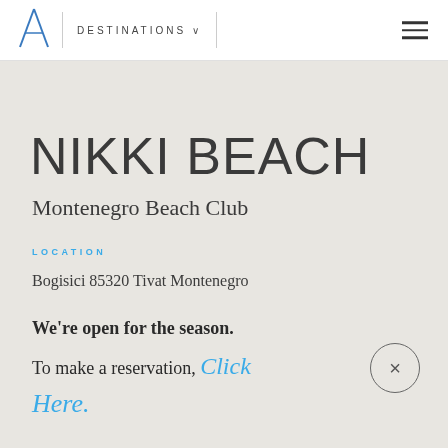DESTINATIONS
NIKKI BEACH
Montenegro Beach Club
LOCATION
Bogisici 85320 Tivat Montenegro
We're open for the season.
To make a reservation, Click Here.